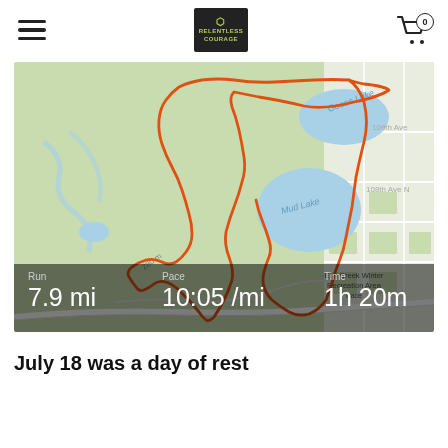Relentless Courage (logo), hamburger menu, cart with 0 items
[Figure (map): GPS running route map showing a 7.9 mile trail run through Elm Creek Winter Recreation Area near Mud Lake and Goose Lake, with an orange route path overlay on a green park map. Stats overlay at bottom: Run 7.9 mi | Pace 10:05 /mi | Time 1h 20m]
July 18 was a day of rest